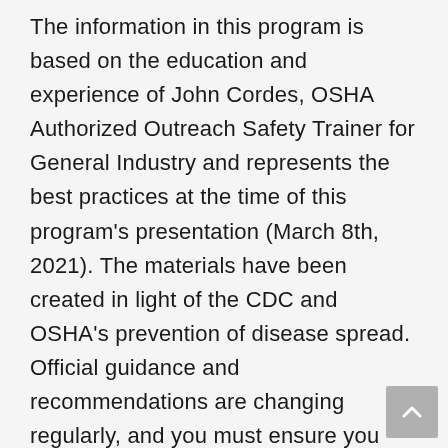The information in this program is based on the education and experience of John Cordes, OSHA Authorized Outreach Safety Trainer for General Industry and represents the best practices at the time of this program's presentation (March 8th, 2021). The materials have been created in light of the CDC and OSHA's prevention of disease spread. Official guidance and recommendations are changing regularly, and you must ensure you are following the current advice of your local, state, and national health authorities. This webinar is informative in nature, and neither Rightway consulting, Safe Production Services, the American Society of Media Photographers, Maddrey PLLC, or the individual panelists can